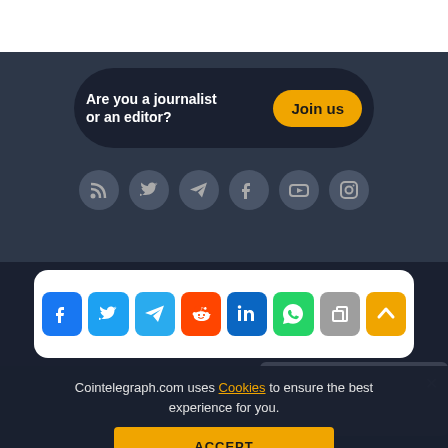[Figure (screenshot): White top strip (header area)]
Are you a journalist or an editor?
Join us
[Figure (infographic): Row of 6 circular social media icons (RSS, Twitter, Telegram, Facebook, YouTube, Instagram) on dark background]
[Figure (infographic): Share bar with 8 colored square icons: Facebook, Twitter, Telegram, Reddit, LinkedIn, WhatsApp, Copy, Up-arrow]
Cointelegraph.com uses Cookies to ensure the best experience for you.
ACCEPT
Terms                              policy